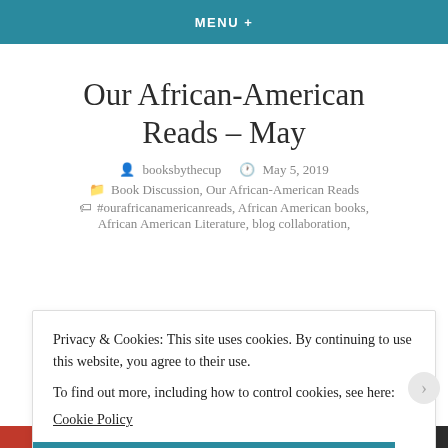MENU +
Our African-American Reads – May
booksbythecup   May 5, 2019
Book Discussion, Our African-American Reads
#ourafricanamericanreads, African American books, African American Literature, blog collaboration,
Privacy & Cookies: This site uses cookies. By continuing to use this website, you agree to their use.
To find out more, including how to control cookies, see here:
Cookie Policy
Close and accept